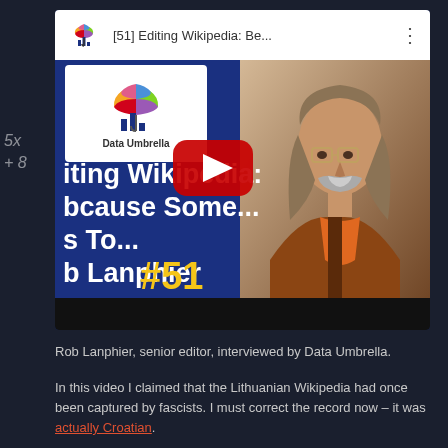[Figure (screenshot): YouTube video thumbnail for '[51] Editing Wikipedia: Because Someone Has To... with Rob Lanphier' featuring the Data Umbrella logo and a bearded man being interviewed. Includes YouTube play button overlay and episode number #51 in gold.]
Rob Lanphier, senior editor, interviewed by Data Umbrella.
In this video I claimed that the Lithuanian Wikipedia had once been captured by fascists. I must correct the record now – it was actually Croatian.